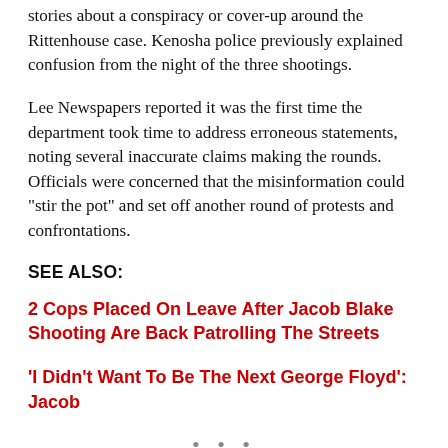stories about a conspiracy or cover-up around the Rittenhouse case. Kenosha police previously explained confusion from the night of the three shootings.
Lee Newspapers reported it was the first time the department took time to address erroneous statements, noting several inaccurate claims making the rounds. Officials were concerned that the misinformation could “stir the pot” and set off another round of protests and confrontations.
SEE ALSO:
2 Cops Placed On Leave After Jacob Blake Shooting Are Back Patrolling The Streets
‘I Didn’t Want To Be The Next George Floyd’: Jacob